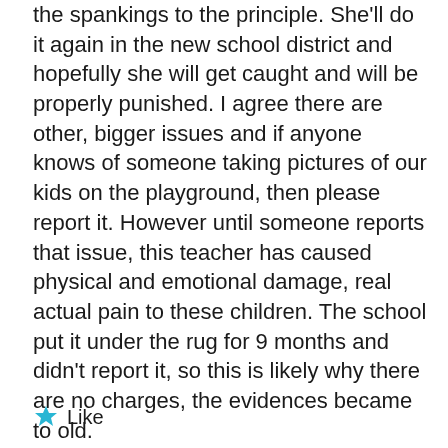the spankings to the principle. She'll do it again in the new school district and hopefully she will get caught and will be properly punished. I agree there are other, bigger issues and if anyone knows of someone taking pictures of our kids on the playground, then please report it. However until someone reports that issue, this teacher has caused physical and emotional damage, real actual pain to these children. The school put it under the rug for 9 months and didn't report it, so this is likely why there are no charges, the evidences became to old.
Like